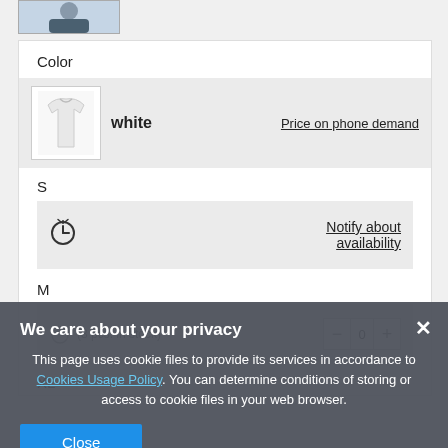[Figure (photo): Thumbnail of a person wearing a dark top, cropped at top of page]
Color
[Figure (photo): Small thumbnail of white long-sleeve shirt]
white
Price on phone demand
S
[Figure (other): Stopwatch/clock icon indicating out-of-stock or availability status]
Notify about availability
M
(8 pcs. in stock)
XL
We care about your privacy
This page uses cookie files to provide its services in accordance to Cookies Usage Policy. You can determine conditions of storing or access to cookie files in your web browser.
Close